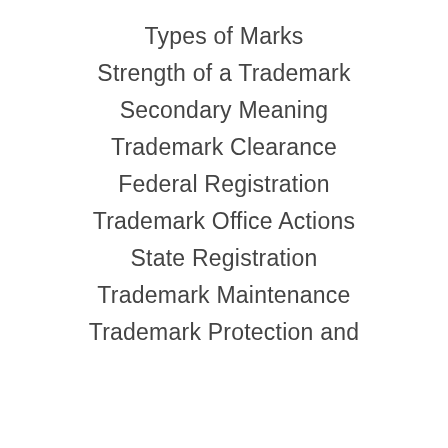Types of Marks
Strength of a Trademark
Secondary Meaning
Trademark Clearance
Federal Registration
Trademark Office Actions
State Registration
Trademark Maintenance
Trademark Protection and